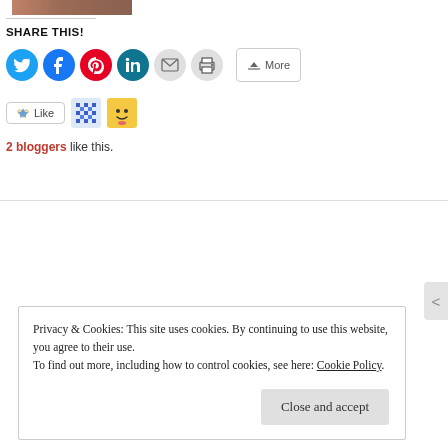[Figure (photo): Partial photo of a person at top of page]
SHARE THIS!
[Figure (infographic): Social share buttons: Twitter (blue circle), Facebook (blue circle), Pinterest (red circle), LinkedIn (dark teal circle), Email (gray circle), Print (gray circle), More button]
[Figure (infographic): Like button with star icon, two blogger avatars shown next to it]
2 bloggers like this.
Privacy & Cookies: This site uses cookies. By continuing to use this website, you agree to their use.
To find out more, including how to control cookies, see here: Cookie Policy
Close and accept